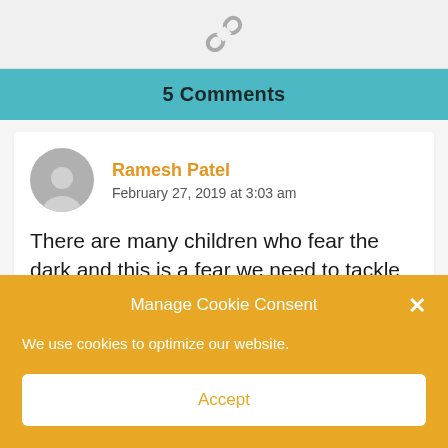[Figure (illustration): Chain link icon on gray background]
5 Comments
Ramesh Patel
February 27, 2019 at 3:03 am
There are many children who fear the dark and this is a fear we need to tackle calmly and at the right age. Thank you
Manage Cookie Consent
We use cookies to optimize our website.
Accept